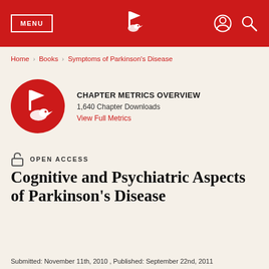MENU | [IntechOpen logo] | [user icon] [search icon]
Home > Books > Symptoms of Parkinson's Disease
CHAPTER METRICS OVERVIEW
1,640 Chapter Downloads
View Full Metrics
OPEN ACCESS
Cognitive and Psychiatric Aspects of Parkinson's Disease
Submitted: November 11th, 2010 , Published: September 22nd, 2011